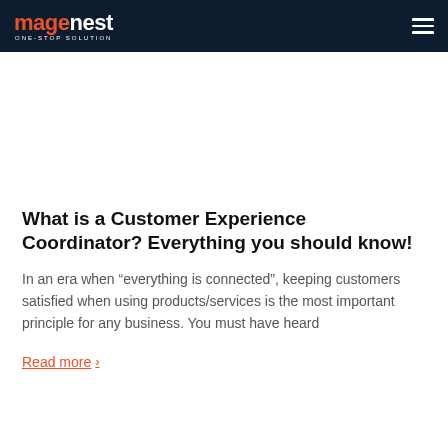magenest ONE-STOP SOLUTION
What is a Customer Experience Coordinator? Everything you should know!
In an era when “everything is connected”, keeping customers satisfied when using products/services is the most important principle for any business. You must have heard
Read more ›